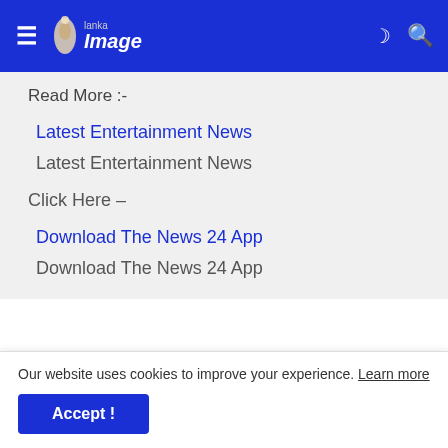Lanka Image
Read More :-
Latest Entertainment News
Latest Entertainment News
Click Here –
Download The News 24 App
Download The News 24 App
Our website uses cookies to improve your experience. Learn more
Accept !